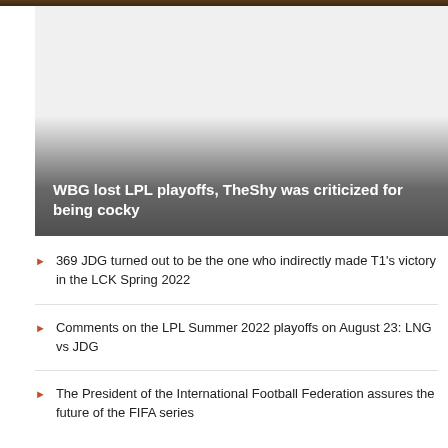[Figure (photo): Dark colored top image strip and featured article card with gray placeholder background and gradient overlay at bottom]
WBG lost LPL playoffs, TheShy was criticized for being cocky
369 JDG turned out to be the one who indirectly made T1's victory in the LCK Spring 2022
Comments on the LPL Summer 2022 playoffs on August 23: LNG vs JDG
The President of the International Football Federation assures the future of the FIFA series